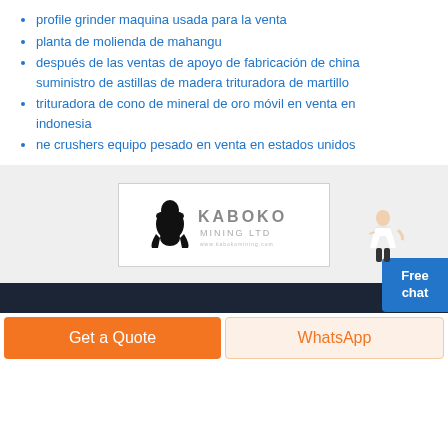profile grinder maquina usada para la venta
planta de molienda de mahangu
después de las ventas de apoyo de fabricación de china suministro de astillas de madera trituradora de martillo
trituradora de cono de mineral de oro móvil en venta en indonesia
ne crushers equipo pesado en venta en estados unidos
[Figure (logo): Kaboko Mining Ltd logo with gorilla silhouette]
Get a Quote | WhatsApp